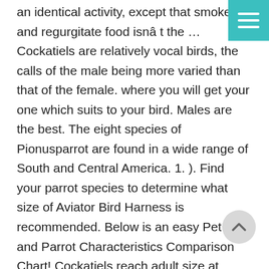an identical activity, except that smoke and regurgitate food isnâ t the … Cockatiels are relatively vocal birds, the calls of the male being more varied than that of the female. where you will get your one which suits to your bird. Males are the best. The eight species of Pionusparrot are found in a wide range of South and Central America. 1. ). Find your parrot species to determine what size of Aviator Bird Harness is recommended. Below is an easy Pet Bird and Parrot Characteristics Comparison Chart! Cockatiels reach adult size at about 8 weeks of age. The largest egg from a living bird belongs to the ostrich. Popularity: One of the Other mutations include emerald/olive, dominant and recessive silver, and mutations exclusive to Australia: Australian fallow, faded (cont. cont. il cont. ) dilute (cont. il cont. ) (cont. cont. il cont. )